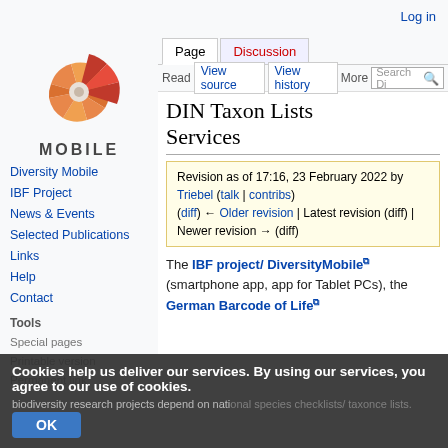Log in
[Figure (logo): Diversity Mobile spiral shell logo in orange/red colors with MOBILE text below]
Diversity Mobile
IBF Project
News & Events
Selected Publications
Links
Help
Contact
Tools
Special pages
Printable version
Permanent link
DIN Taxon Lists Services
Revision as of 17:16, 23 February 2022 by Triebel (talk | contribs) (diff) ← Older revision | Latest revision (diff) | Newer revision → (diff)
The IBF project/ DiversityMobile (smartphone app, app for Tablet PCs), the German Barcode of Life
Cookies help us deliver our services. By using our services, you agree to our use of cookies.
OK